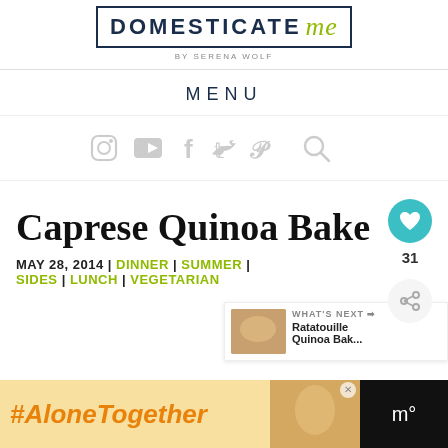[Figure (logo): Domesticate Me by Serena Wolf logo — dark navy uppercase DOMESTICATE with cursive olive-green 'me', inside a rectangular border, with 'BY SERENA WOLF' subtitle]
MENU
[Figure (infographic): Social media icons row: Instagram, YouTube, Facebook, Twitter, Pinterest, Search — all in light gray]
Caprese Quinoa Bake
MAY 28, 2014 | DINNER | SUMMER | SIDES | LUNCH | VEGETARIAN
[Figure (infographic): What's Next panel showing Ratatouille Quinoa Bak... with a small food photo]
[Figure (infographic): #AloneTogether advertisement banner with orange italic text and photo of woman cooking]